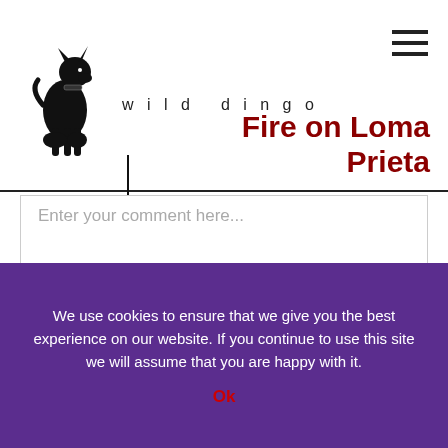wild dingo
Fire on Loma Prieta
Enter your comment here...
2 comments on “Fire on Loma Prieta”
We use cookies to ensure that we give you the best experience on our website. If you continue to use this site we will assume that you are happy with it.
Ok